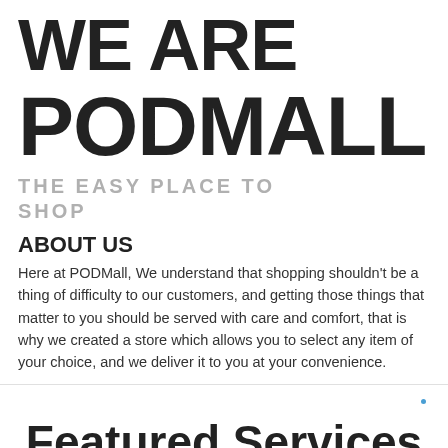WE ARE PODMALL
THE EASY PLACE TO SHOP
ABOUT US
Here at PODMall, We understand that shopping shouldn't be a thing of difficulty to our customers, and getting those things that matter to you should be served with care and comfort, that is why we created a store which allows you to select any item of your choice, and we deliver it to you at your convenience.
Featured Services